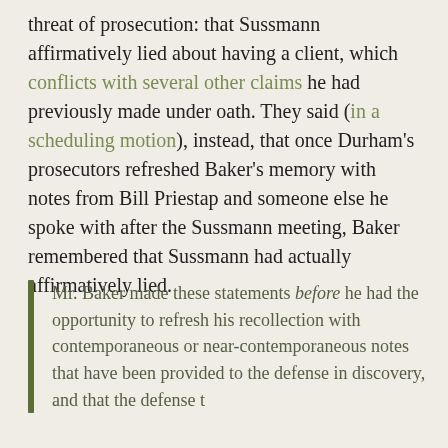threat of prosecution: that Sussmann affirmatively lied about having a client, which conflicts with several other claims he had previously made under oath. They said (in a scheduling motion), instead, that once Durham's prosecutors refreshed Baker's memory with notes from Bill Priestap and someone else he spoke with after the Sussmann meeting, Baker remembered that Sussmann had actually affirmatively lied.
Mr. Baker made these statements before he had the opportunity to refresh his recollection with contemporaneous or near-contemporaneous notes that have been provided to the defense in discovery, and that the defense...